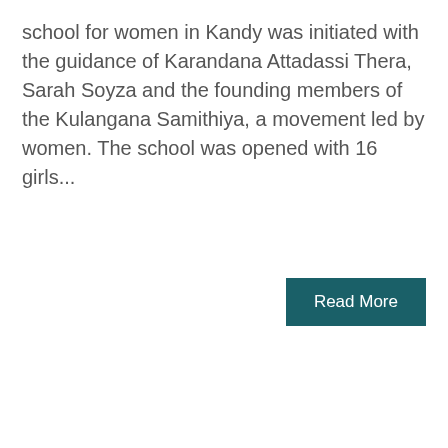school for women in Kandy was initiated with the guidance of Karandana Attadassi Thera, Sarah Soyza and the founding members of the Kulangana Samithiya, a movement led by women. The school was opened with 16 girls...
Read More